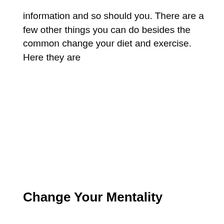information and so should you. There are a few other things you can do besides the common change your diet and exercise. Here they are
Change Your Mentality